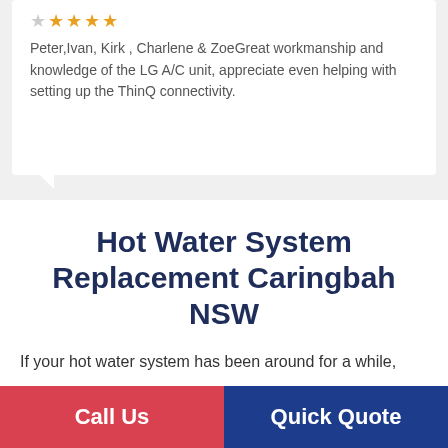Peter,Ivan, Kirk , Charlene & ZoeGreat workmanship and knowledge of the LG A/C unit, appreciate even helping with setting up the ThinQ connectivity.
Hot Water System Replacement Caringbah NSW
If your hot water system has been around for a while,
Call Us
Quick Quote